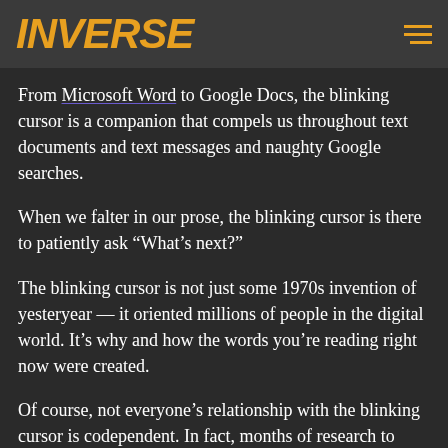INVERSE
From Microsoft Word to Google Docs, the blinking cursor is a companion that compels us throughout text documents and text messages and naughty Google searches.
When we falter in our prose, the blinking cursor is there to patiently ask “What’s next?”
The blinking cursor is not just some 1970s invention of yesteryear — it oriented millions of people in the digital world. It’s why and how the words you’re reading right now were created.
Of course, not everyone’s relationship with the blinking cursor is codependent. In fact, months of research to uncover the origin of this ubiquitous feature reveal that